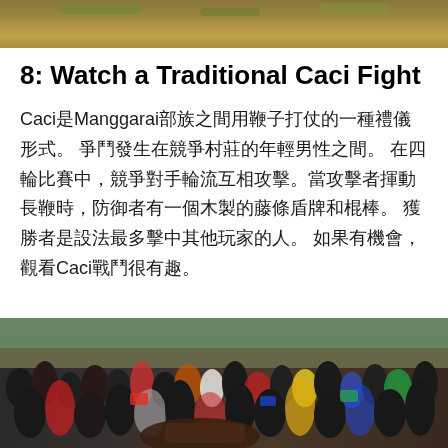[Figure (photo): Top portion of an outdoor scenic photo, showing landscape with golden/green tones]
8: Watch a Traditional Caci Fight
Caci是Manggarai部族之間用鞭子打仗的一種禮儀形式。 爭鬥發生在競爭村莊的年輕男性之間。 在四輪比賽中，競爭對手輪流互相攻擊。當攻擊者揮動長鞭時，防御者有一個木製的藤條盾牌和棍棒。 獲勝者是設法最多擊中其他玩家的人。 如果有機會，觀看Caci戰鬥很有趣。
[Figure (photo): A large crowd of people gathered outdoors, with trees and buildings visible in the background. A horse or animal is partially visible in the foreground.]